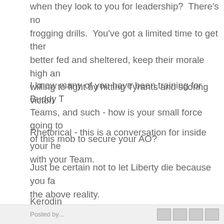when they look to you for leadership?  There's no frogging drills.  You've got a limited time to get them better fed and sheltered, keep their morale high and willing to fight by hitting Tyrants and scoring victori
I know many of you have been training for Buddy Teams, and such - how is your small force going to of this mob to secure your AO?
Rhetorical - this is a conversation for inside your h with your Team.
Just be certain not to let Liberty die because you fa the above reality.
Kerodin
III
Posted by...